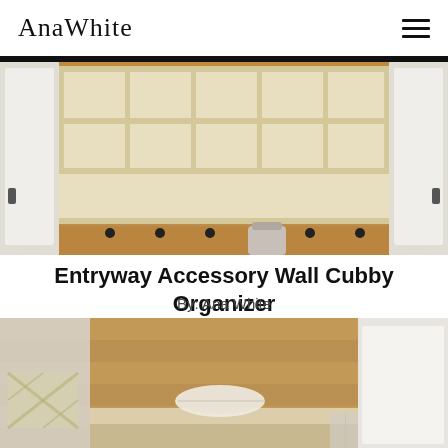AnaWhite
[Figure (photo): Interior photo of an entryway mudroom showing a wooden wall cubby organizer with multiple cubbies arranged in rows, coat hooks below, and white cabinet doors on either side. Wood plank wall visible in background.]
Entryway Accessory Wall Cubby Organizer
By: Ana White
[Figure (photo): Interior photo of a mudroom entryway showing bench seating with storage cubbies below, white cabinet panels on the sides, a rolled blanket on the bench, and a decorative pillow with geometric pattern. Wood plank wall and floor visible.]